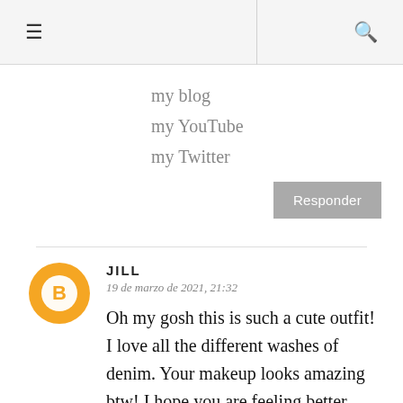≡  🔍
my blog
my YouTube
my Twitter
Responder
JILL
19 de marzo de 2021, 21:32
Oh my gosh this is such a cute outfit! I love all the different washes of denim. Your makeup looks amazing btw! I hope you are feeling better from being sick :)